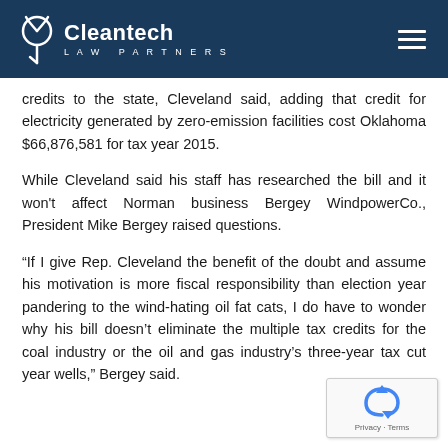Cleantech LAW PARTNERS
credits to the state, Cleveland said, adding that credit for electricity generated by zero-emission facilities cost Oklahoma $66,876,581 for tax year 2015.
While Cleveland said his staff has researched the bill and it won't affect Norman business Bergey WindpowerCo., President Mike Bergey raised questions.
“If I give Rep. Cleveland the benefit of the doubt and assume his motivation is more fiscal responsibility than election year pandering to the wind-hating oil fat cats, I do have to wonder why his bill doesn’t eliminate the multiple tax credits for the coal industry or the oil and gas industry’s three-year tax cut year wells,” Bergey said.